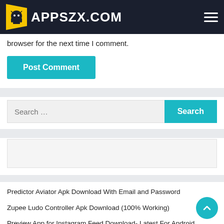APPSZX.COM
browser for the next time I comment.
Post Comment
Search ...
[Figure (other): Advertisement placeholder box]
Predictor Aviator Apk Download With Email and Password
Zupee Ludo Controller Apk Download (100% Working)
Preview App for Instagram Feed Download- Latest For Android